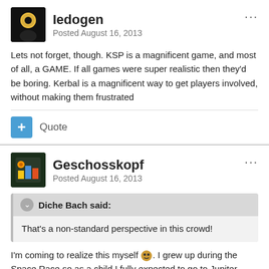Iedogen
Posted August 16, 2013
Lets not forget, though. KSP is a magnificent game, and most of all, a GAME. If all games were super realistic then they'd be boring. Kerbal is a magnificent way to get players involved, without making them frustrated
+ Quote
Geschosskopf
Posted August 16, 2013
Diche Bach said:
That's a non-standard perspective in this crowd!
I'm coming to realize this myself. I grew up during the Space Race so as a child I fully expected to go to Jupiter when I was grown (Mars having been settled in the meantime). But watching the Voyager missions unfold throughout my teens, coming to understand why it took years to get